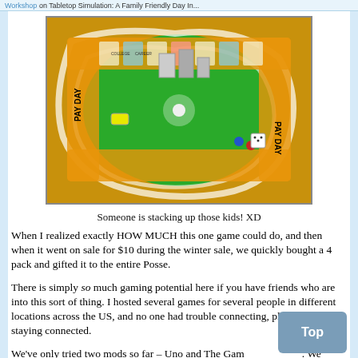Workshop on Tabletop Simulation: A Family Friendly Day In...
[Figure (photo): A board game (The Game of Life) viewed from above showing a colorful board with orange paths, green areas, and miniature buildings and player pieces. Game pieces and dice are visible on the board.]
Someone is stacking up those kids! XD
When I realized exactly HOW MUCH this one game could do, and then when it went on sale for $10 during the winter sale, we quickly bought a 4 pack and gifted it to the entire Posse.
There is simply so much gaming potential here if you have friends who are into this sort of thing. I hosted several games for several people in different locations across the US, and no one had trouble connecting, playing or staying connected.
We've only tried two mods so far – Uno and The Game of Life. We haven't tried anything fully scripted, though Uno had scripts for dealing the cards that was a nice addition.